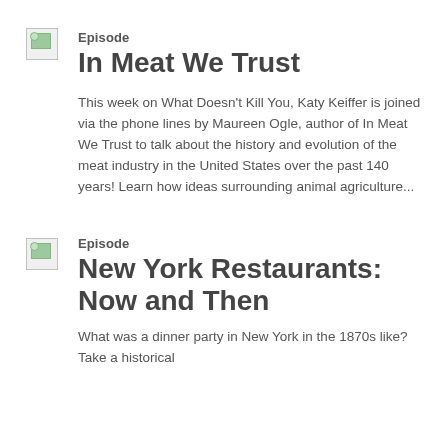[Figure (illustration): Broken image placeholder thumbnail for episode 1]
Episode
In Meat We Trust
This week on What Doesn't Kill You, Katy Keiffer is joined via the phone lines by Maureen Ogle, author of In Meat We Trust to talk about the history and evolution of the meat industry in the United States over the past 140 years! Learn how ideas surrounding animal agriculture...
[Figure (illustration): Broken image placeholder thumbnail for episode 2]
Episode
New York Restaurants: Now and Then
What was a dinner party in New York in the 1870s like? Take a historical...